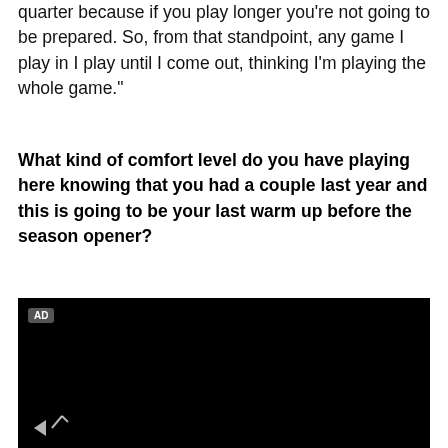quarter because if you play longer you're not going to be prepared. So, from that standpoint, any game I play in I play until I come out, thinking I'm playing the whole game."
What kind of comfort level do you have playing here knowing that you had a couple last year and this is going to be your last warm up before the season opener?
[Figure (screenshot): Black video player with AD badge in top-left corner and a partially visible play/volume control icon at the bottom-left.]